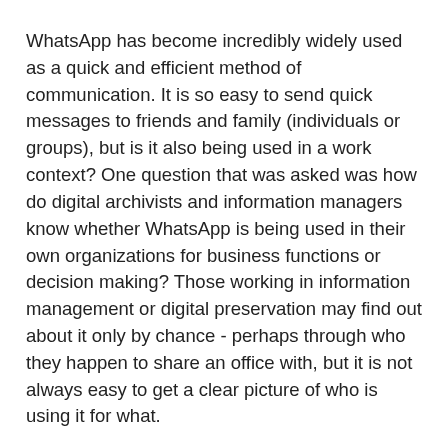WhatsApp has become incredibly widely used as a quick and efficient method of communication. It is so easy to send quick messages to friends and family (individuals or groups), but is it also being used in a work context? One question that was asked was how do digital archivists and information managers know whether WhatsApp is being used in their own organizations for business functions or decision making? Those working in information management or digital preservation may find out about it only by chance - perhaps through who they happen to share an office with, but it is not always easy to get a clear picture of who is using it for what.
Controlling use of messaging tools like WhatsApp can be a challenge. People tend to adopt the tools they like